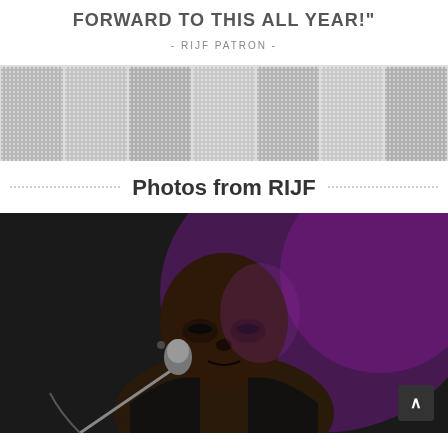FORWARD TO THIS ALL YEAR!"
- RIJF PATRON -
[Figure (photo): Collage of black and white crowd/audience photos arranged in a grid strip with halftone dot overlay effect]
Photos from RIJF
[Figure (photo): Close-up photo of a large tattooed Black man performing on stage, leaning toward a microphone, wearing a sleeveless vest, with purple stage lighting]